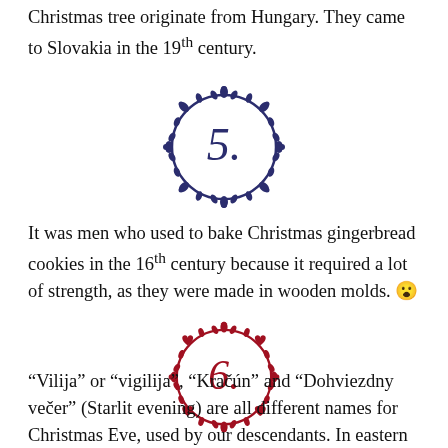Christmas tree originate from Hungary. They came to Slovakia in the 19th century.
[Figure (illustration): Decorative circular ornament in dark navy blue with the number 5. inside, surrounded by a floral/leaf wreath border.]
It was men who used to bake Christmas gingerbread cookies in the 16th century because it required a lot of strength, as they were made in wooden molds. 😮
[Figure (illustration): Decorative circular ornament in dark red/crimson with the number 6. inside, surrounded by a floral/heart wreath border.]
“Vilija” or “vigilija”, “Kračún” and “Dohviezdny večer” (Starlit evening) are all different names for Christmas Eve, used by our descendants. In eastern and partially central